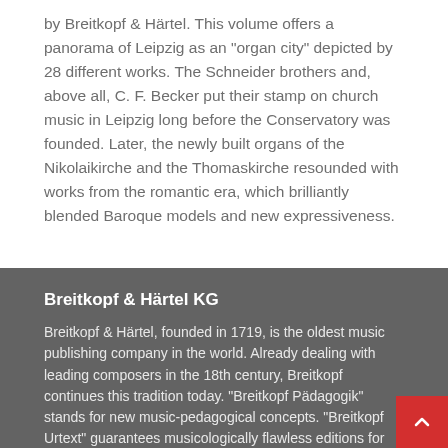by Breitkopf & Härtel. This volume offers a panorama of Leipzig as an "organ city" depicted by 28 different works. The Schneider brothers and, above all, C. F. Becker put their stamp on church music in Leipzig long before the Conservatory was founded. Later, the newly built organs of the Nikolaikirche and the Thomaskirche resounded with works from the romantic era, which brilliantly blended Baroque models and new expressiveness.
Breitkopf & Härtel KG
Breitkopf & Härtel, founded in 1719, is the oldest music publishing company in the world. Already dealing with leading composers in the 18th century, Breitkopf continues this tradition today. "Breitkopf Pädagogik" stands for new music-pedagogical concepts. "Breitkopf Urtext" guarantees musicologically flawless editions for interpreters. Discover our history on www.first-in-music.com and our podcasts